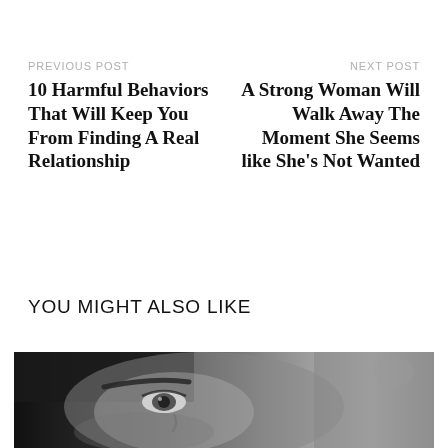PREVIOUS POST
10 Harmful Behaviors That Will Keep You From Finding A Real Relationship
NEXT POST
A Strong Woman Will Walk Away The Moment She Seems like She's Not Wanted
YOU MIGHT ALSO LIKE
[Figure (photo): Close-up black and white photograph of a woman's face, showing her eye and part of her face from a low angle]